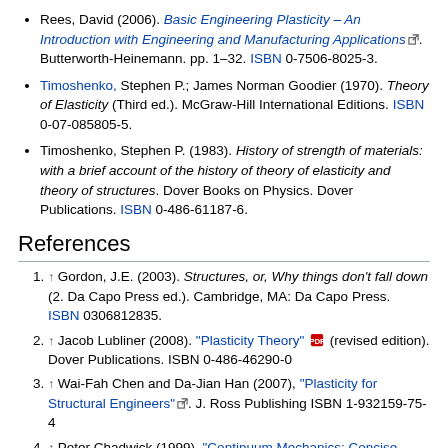Rees, David (2006). Basic Engineering Plasticity – An Introduction with Engineering and Manufacturing Applications. Butterworth-Heinemann. pp. 1–32. ISBN 0-7506-8025-3.
Timoshenko, Stephen P.; James Norman Goodier (1970). Theory of Elasticity (Third ed.). McGraw-Hill International Editions. ISBN 0-07-085805-5.
Timoshenko, Stephen P. (1983). History of strength of materials: with a brief account of the history of theory of elasticity and theory of structures. Dover Books on Physics. Dover Publications. ISBN 0-486-61187-6.
References
1. ↑ Gordon, J.E. (2003). Structures, or, Why things don't fall down (2. Da Capo Press ed.). Cambridge, MA: Da Capo Press. ISBN 0306812835.
2. ↑ Jacob Lubliner (2008). "Plasticity Theory" (revised edition). Dover Publications. ISBN 0-486-46290-0
3. ↑ Wai-Fah Chen and Da-Jian Han (2007), "Plasticity for Structural Engineers". J. Ross Publishing ISBN 1-932159-75-4
4. ↑ Peter Chadwick (1999), "Continuum Mechanics: Concise Theory and Problems". Dover Publications, series "Books on Physics".